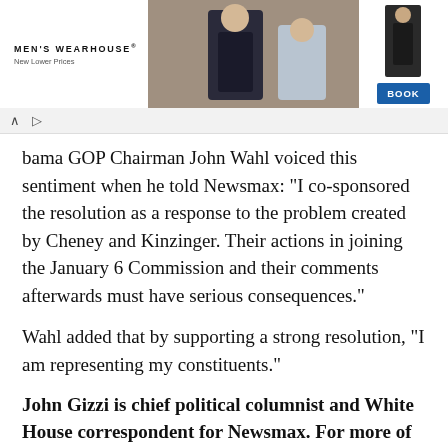[Figure (photo): Men's Wearhouse advertisement banner showing a couple dressed formally (man in dark suit, woman in formal dress) and a man in a dark suit on the right, with a blue 'BOOK' button.]
bama GOP Chairman John Wahl voiced this sentiment when he told Newsmax: "I co-sponsored the resolution as a response to the problem created by Cheney and Kinzinger. Their actions in joining the January 6 Commission and their comments afterwards must have serious consequences."
Wahl added that by supporting a strong resolution, "I am representing my constituents."
John Gizzi is chief political columnist and White House correspondent for Newsmax. For more of his reports, Go Here Now.